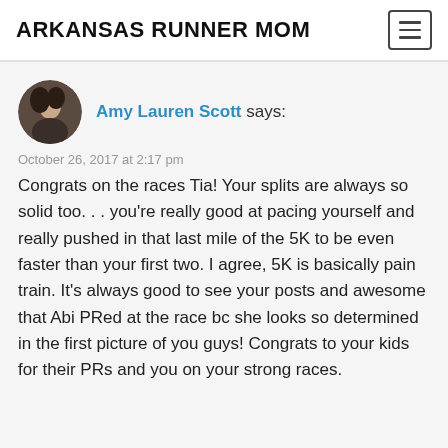ARKANSAS RUNNER MOM
Amy Lauren Scott says:
October 26, 2017 at 2:17 pm
Congrats on the races Tia! Your splits are always so solid too. . . you're really good at pacing yourself and really pushed in that last mile of the 5K to be even faster than your first two. I agree, 5K is basically pain train. It's always good to see your posts and awesome that Abi PRed at the race bc she looks so determined in the first picture of you guys! Congrats to your kids for their PRs and you on your strong races.